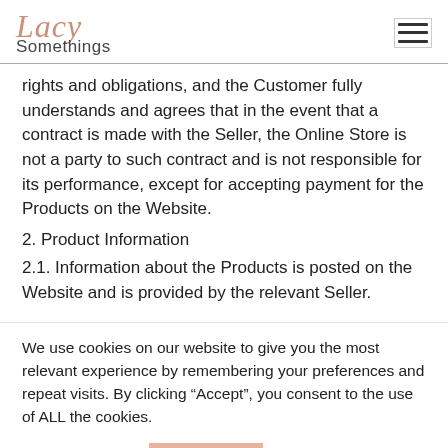Lacy Somethings
rights and obligations, and the Customer fully understands and agrees that in the event that a contract is made with the Seller, the Online Store is not a party to such contract and is not responsible for its performance, except for accepting payment for the Products on the Website.
2. Product Information
2.1. Information about the Products is posted on the Website and is provided by the relevant Seller.
We use cookies on our website to give you the most relevant experience by remembering your preferences and repeat visits. By clicking “Accept”, you consent to the use of ALL the cookies.
Cookie settings   ACCEPT